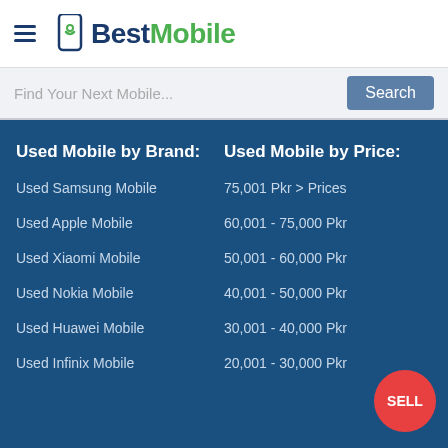BestMobile
Find Your Next Mobile...
Used Mobile by Brand:
Used Mobile by Price:
Used Samsung Mobile
75,001 Pkr > Prices
Used Apple Mobile
60,001 - 75,000 Pkr
Used Xiaomi Mobile
50,001 - 60,000 Pkr
Used Nokia Mobile
40,001 - 50,000 Pkr
Used Huawei Mobile
30,001 - 40,000 Pkr
Used Infinix Mobile
20,001 - 30,000 Pkr
SELL